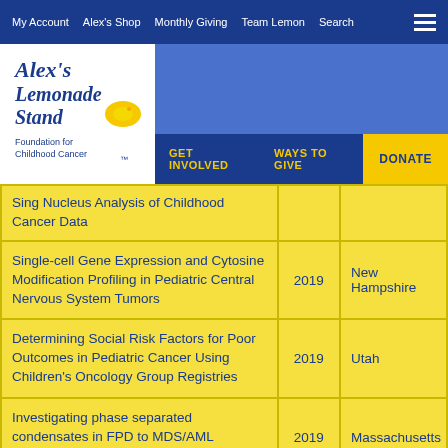My Account | Alex's Shop | Monthly Giving | Team Lemon | Search
[Figure (logo): Alex's Lemonade Stand Foundation for Childhood Cancer logo with yellow lemon graphic]
GET INVOLVED | WAYS TO GIVE | DONATE
| Project Title | Year | State |
| --- | --- | --- |
| Sing Nucleus Analysis of Childhood Cancer Data |  |  |
| Single-cell Gene Expression and Cytosine Modification Profiling in Pediatric Central Nervous System Tumors | 2019 | New Hampshire |
| Determining Social Risk Factors for Poor Outcomes in Pediatric Cancer Using Children's Oncology Group Registries | 2019 | Utah |
| Investigating phase separated condensates in FPD to MDS/AML progression | 2019 | Massachusetts |
| [partial row] |  |  |